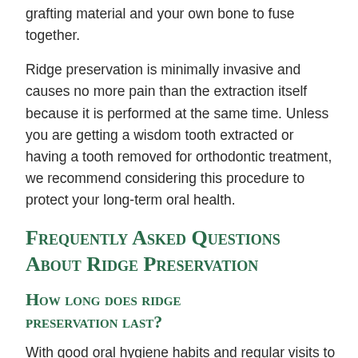grafting material and your own bone to fuse together.
Ridge preservation is minimally invasive and causes no more pain than the extraction itself because it is performed at the same time. Unless you are getting a wisdom tooth extracted or having a tooth removed for orthodontic treatment, we recommend considering this procedure to protect your long-term oral health.
Frequently Asked Questions About Ridge Preservation
How long does ridge preservation last?
With good oral hygiene habits and regular visits to your dentist to keep your teeth and gums healthy, ridge